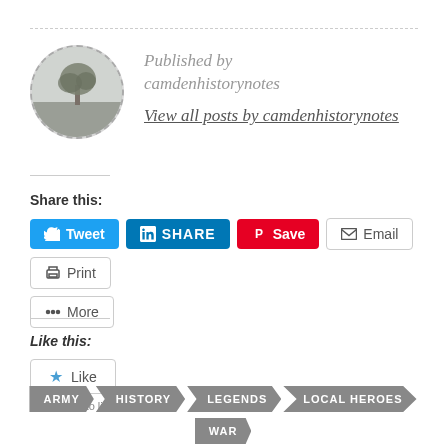Published by camdenhistorynotes
View all posts by camdenhistorynotes
Share this:
Tweet  SHARE  Save  Email  Print  More
Like this:
Like
Be the first to like this.
ARMY
HISTORY
LEGENDS
LOCAL HEROES
WAR